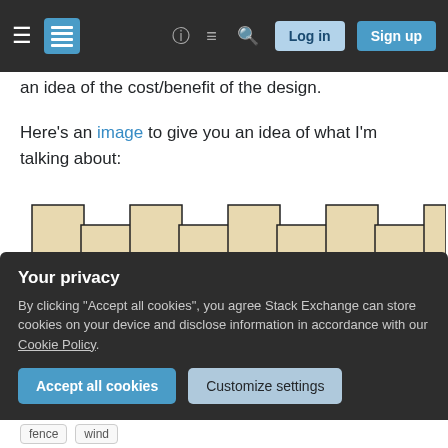Stack Exchange navigation bar with Log in and Sign up buttons
an idea of the cost/benefit of the design.
Here's an image to give you an idea of what I'm talking about:
[Figure (illustration): A diagram showing a repeating fence/baffle pattern with tall and short rectangular panels alternating, drawn in a tan/beige color with black outlines, representing a wind fence or similar barrier design.]
Your privacy
By clicking "Accept all cookies", you agree Stack Exchange can store cookies on your device and disclose information in accordance with our Cookie Policy.
fence   wind